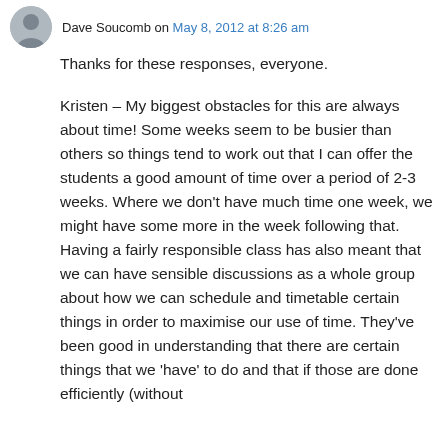Dave Soucomb on May 8, 2012 at 8:26 am
Thanks for these responses, everyone.
Kristen – My biggest obstacles for this are always about time! Some weeks seem to be busier than others so things tend to work out that I can offer the students a good amount of time over a period of 2-3 weeks. Where we don't have much time one week, we might have some more in the week following that. Having a fairly responsible class has also meant that we can have sensible discussions as a whole group about how we can schedule and timetable certain things in order to maximise our use of time. They've been good in understanding that there are certain things that we 'have' to do and that if those are done efficiently (without